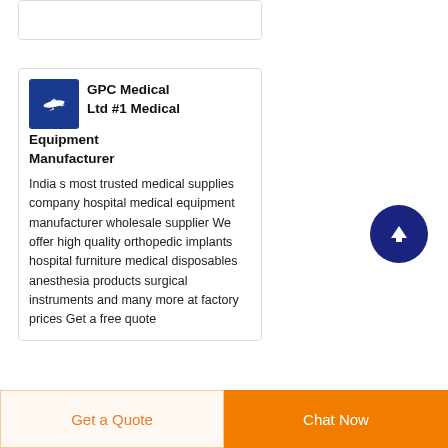GPC Medical Ltd #1 Medical Equipment Manufacturer
India s most trusted medical supplies company hospital medical equipment manufacturer wholesale supplier We offer high quality orthopedic implants hospital furniture medical disposables anesthesia products surgical instruments and many more at factory prices Get a free quote
Get a Quote
Chat Now